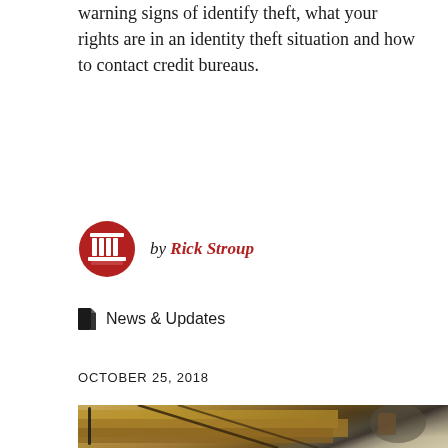warning signs of identify theft, what your rights are in an identity theft situation and how to contact credit bureaus.
[Figure (logo): Red building/columns logo icon for Rick Stroup]
by Rick Stroup
News & Updates
OCTOBER 25, 2018
[Figure (photo): Close-up photo of old books tied with string/twine and a pen, with a gavel in the background, on a desk surface]